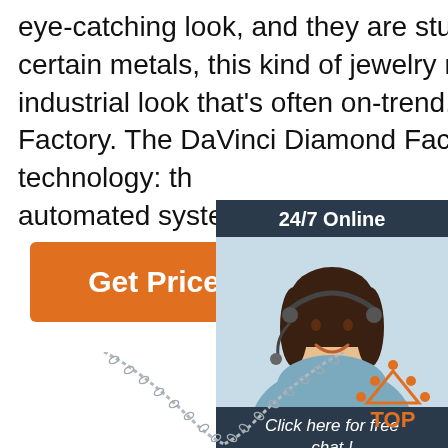eye-catching look, and they are sturdy for years of wear. In certain metals, this kind of jewelry may have a distinctly industrial look that's often on-trend. 4. DaVinci Diamond Factory. The DaVinci Diamond Factory is a revolutionary technology: th… automated system for full-faceted laser
[Figure (other): Orange 'Get Price' button]
[Figure (other): 24/7 online chat widget with customer service representative photo, 'Click here for free chat!' text, and orange QUOTATION button]
[Figure (photo): Silver chain necklace forming a V shape on white background]
[Figure (other): Orange 'TOP' badge with dots above it arranged in a triangle]